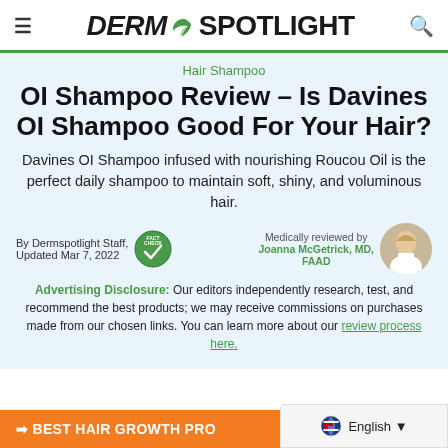DERM SPOTLIGHT
Hair Shampoo
OI Shampoo Review – Is Davines OI Shampoo Good For Your Hair?
Davines OI Shampoo infused with nourishing Roucou Oil is the perfect daily shampoo to maintain soft, shiny, and voluminous hair.
By Dermspotlight Staff, Updated Mar 7, 2022 | Medically reviewed by Joanna McGetrick, MD, FAAD
Advertising Disclosure: Our editors independently research, test, and recommend the best products; we may receive commissions on purchases made from our chosen links. You can learn more about our review process here.
BEST HAIR GROWTH PRO